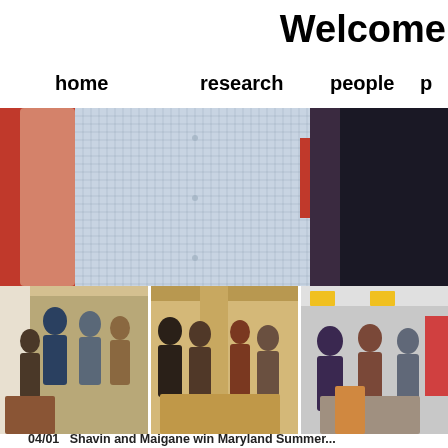Welcome
home
research
people
p...
[Figure (photo): Close-up photo of two people's torsos showing shirts and arms against a red background]
[Figure (photo): Three side-by-side photos of a group of people gathered at an indoor event/reception]
04/01   Shavin and Maigane win Maryland Summer...